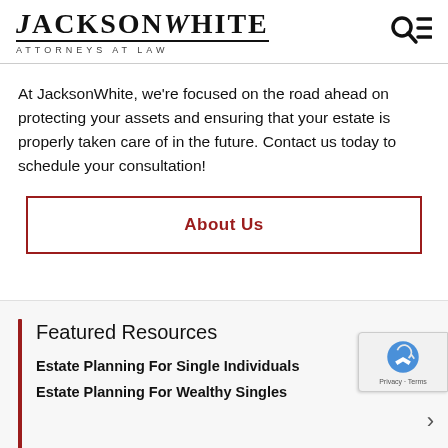JacksonWhite Attorneys at Law
At JacksonWhite, we're focused on the road ahead on protecting your assets and ensuring that your estate is properly taken care of in the future. Contact us today to schedule your consultation!
About Us
Featured Resources
Estate Planning For Single Individuals
Estate Planning For Wealthy Singles